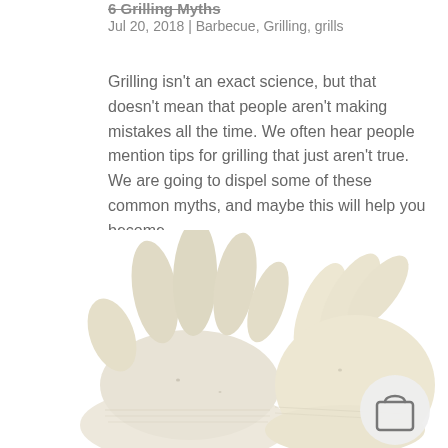6 Grilling Myths
Jul 20, 2018 | Barbecue, Grilling, grills
Grilling isn't an exact science, but that doesn't mean that people aren't making mistakes all the time. We often hear people mention tips for grilling that just aren't true. We are going to dispel some of these common myths, and maybe this will help you become...
[Figure (photo): Two cream/off-white knitted grilling gloves shown from above, fingers spread, on a white background. A small circular shop/cart button icon is overlaid in the bottom right.]